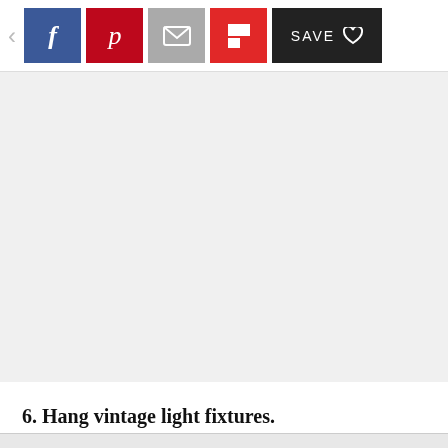[Figure (screenshot): Social sharing toolbar with back arrow, Facebook, Pinterest, email, Flipboard, and Save buttons]
[Figure (photo): Large image placeholder area (blank/light gray)]
6. Hang vintage light fixtures.